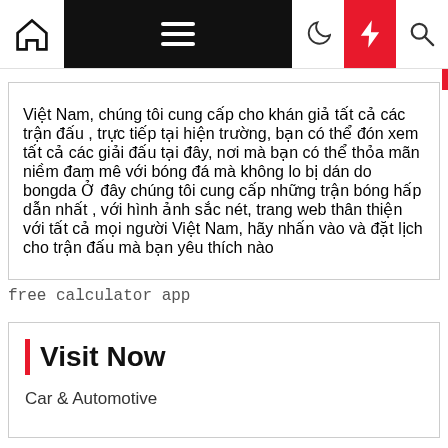Navigation bar with home, menu, moon, bolt, and search icons
Việt Nam, chúng tôi cung cấp cho khán giả tất cả các trận đấu , trực tiếp tại hiện trường, bạn có thể đón xem tất cả các giải đấu tại đây, nơi mà bạn có thể thỏa mãn niềm đam mê với bóng đá mà không lo bị dán do bongda Ở đây chúng tôi cung cấp những trận bóng hấp dẫn nhất , với hình ảnh sắc nét, trang web thân thiện với tất cả mọi người Việt Nam, hãy nhấn vào và đặt lịch cho trận đấu mà bạn yêu thích nào
free calculator app
Visit Now
Car & Automotive